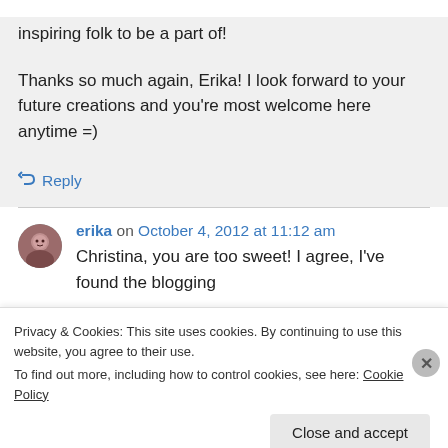inspiring folk to be a part of!
Thanks so much again, Erika! I look forward to your future creations and you're most welcome here anytime =)
↳ Reply
erika on October 4, 2012 at 11:12 am
Christina, you are too sweet! I agree, I've found the blogging
Privacy & Cookies: This site uses cookies. By continuing to use this website, you agree to their use.
To find out more, including how to control cookies, see here: Cookie Policy
Close and accept